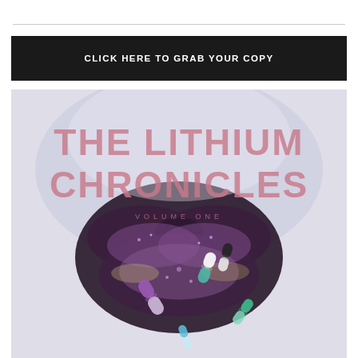CLICK HERE TO GRAB YOUR COPY
[Figure (illustration): Book cover for 'The Lithium Chronicles Volume One' featuring large pink distressed text title over a textured light background, with a close-up photo of glittery purple-black lips holding/spilling colorful pharmaceutical capsule pills (purple, teal, black-white), dramatic editorial style.]